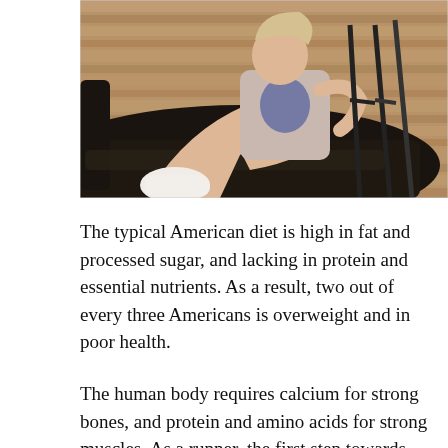[Figure (photo): A young woman with a white cast on her left foot/ankle sits on a dark leather sofa, holding crutches with her right hand. She is wearing a graphic t-shirt and plaid shorts. The background shows a wooden paneled wall.]
The typical American diet is high in fat and processed sugar, and lacking in protein and essential nutrients. As a result, two out of every three Americans is overweight and in poor health.
The human body requires calcium for strong bones, and protein and amino acids for strong muscles. As a runner, the first step towards